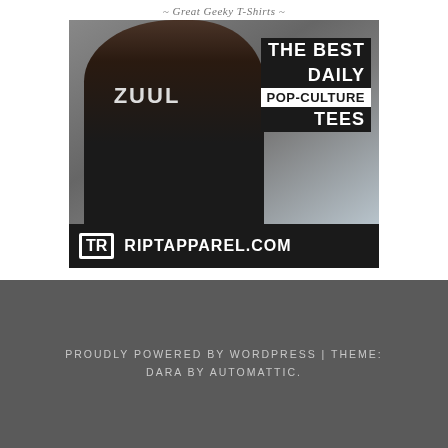~ Great Geeky T-Shirts ~
[Figure (photo): Advertisement banner for RiptApparel.com showing a woman wearing a black graphic t-shirt with 'ZUUL' text and a monster face design. Overlay text reads 'THE BEST DAILY POP-CULTURE TEES'. Bottom bar shows TR logo and RIPTAPPAREL.COM]
PROUDLY POWERED BY WORDPRESS | THEME: DARA BY AUTOMATTIC.